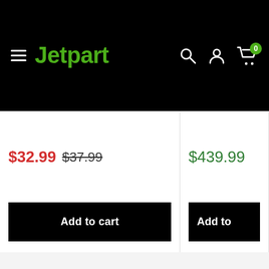Jetpart
$32.99  $37.99
$439.99
Add to cart
Add to
[Figure (illustration): Shopping cart with return arrow icon]
EASY RETURNS
100% Satisfaction